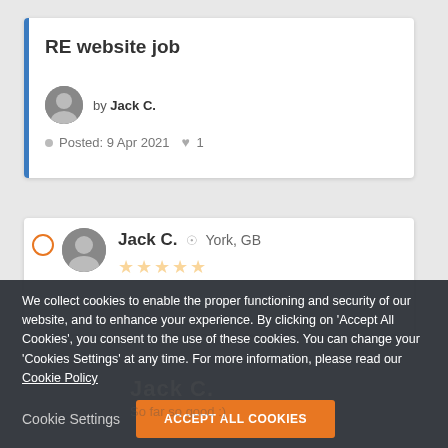RE website job
by Jack C.
Posted: 9 Apr 2021  ♥ 1
Jack C.  York, GB
We collect cookies to enable the proper functioning and security of our website, and to enhance your experience. By clicking on 'Accept All Cookies', you consent to the use of these cookies. You can change your 'Cookies Settings' at any time. For more information, please read our Cookie Policy
Cookie Settings
ACCEPT ALL COOKIES